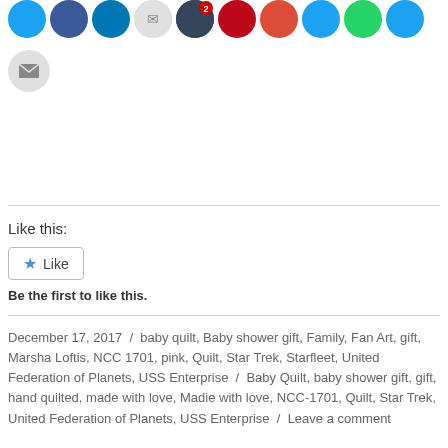[Figure (other): Row of social media sharing icon circles (Twitter, Facebook, LinkedIn, email/envelope, Tumblr, Pinterest with badge '2', Google+, Twitter, WhatsApp, Twitter) and a grey email envelope circle below]
Like this:
[Figure (other): Like button widget with blue star icon and 'Like' text inside a bordered rounded rectangle]
Be the first to like this.
December 17, 2017 / baby quilt, Baby shower gift, Family, Fan Art, gift, Marsha Loftis, NCC 1701, pink, Quilt, Star Trek, Starfleet, United Federation of Planets, USS Enterprise / Baby Quilt, baby shower gift, gift, hand quilted, made with love, Madie with love, NCC-1701, Quilt, Star Trek, United Federation of Planets, USS Enterprise / Leave a comment